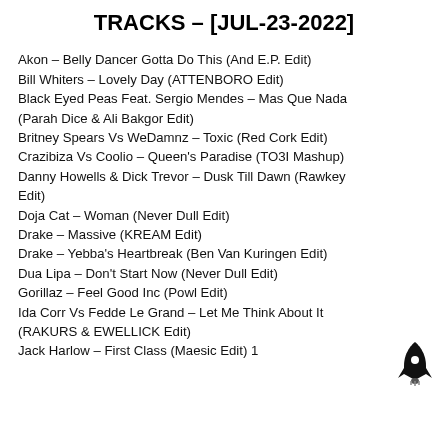TRACKS – [JUL-23-2022]
Akon – Belly Dancer Gotta Do This (And E.P. Edit)
Bill Whiters – Lovely Day (ATTENBORO Edit)
Black Eyed Peas Feat. Sergio Mendes – Mas Que Nada (Parah Dice & Ali Bakgor Edit)
Britney Spears Vs WeDamnz – Toxic (Red Cork Edit)
Crazibiza Vs Coolio – Queen's Paradise (TO3I Mashup)
Danny Howells & Dick Trevor – Dusk Till Dawn (Rawkey Edit)
Doja Cat – Woman (Never Dull Edit)
Drake – Massive (KREAM Edit)
Drake – Yebba's Heartbreak (Ben Van Kuringen Edit)
Dua Lipa – Don't Start Now (Never Dull Edit)
Gorillaz – Feel Good Inc (Powl Edit)
Ida Corr Vs Fedde Le Grand – Let Me Think About It (RAKURS & EWELLICK Edit)
Jack Harlow – First Class (Maesic Edit) 1
[Figure (illustration): Black rocket ship icon]